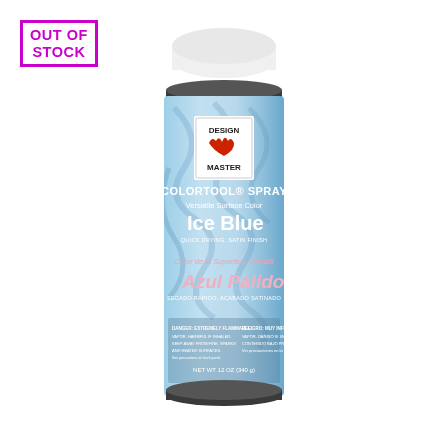[Figure (illustration): Design Master Colortool Spray can in Ice Blue / Azul Palido color. The aerosol can has a white cap, a light blue body with swirling decorative pattern, the Design Master logo, text reading COLORTOOL SPRAY, Versatile Surface Color, Ice Blue, Quick Drying Satin Finish in English, and Color de la Superficie Versatil, Azul Palido, Secado Rapido Acabado Satinado in Spanish. Danger and Peligro warning text appears at the bottom along with NET WT 12 OZ (340 g).]
OUT OF STOCK